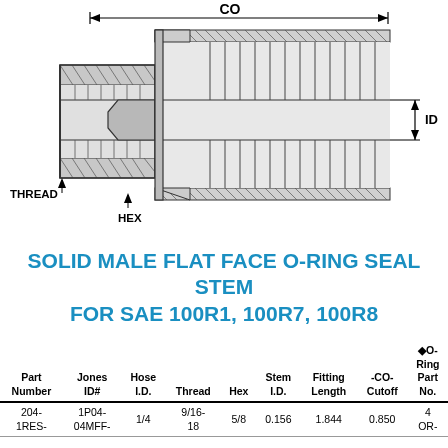[Figure (engineering-diagram): Cross-sectional engineering diagram of a Solid Male Flat Face O-Ring Seal Stem fitting showing THREAD, HEX, CO (overall length dimension), and ID (inner diameter) labels with dimension lines.]
SOLID MALE FLAT FACE O-RING SEAL STEM FOR SAE 100R1, 100R7, 100R8
| Part Number | Jones ID# | Hose I.D. | Thread | Hex | Stem I.D. | Fitting Length | -CO- Cutoff | ◆O-Ring Part No. |
| --- | --- | --- | --- | --- | --- | --- | --- | --- |
| 204-1RES- | 1P04-04MFF- | 1/4 | 9/16-18 | 5/8 | 0.156 | 1.844 | 0.850 | 4 OR- |